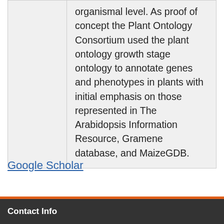organismal level. As proof of concept the Plant Ontology Consortium used the plant ontology growth stage ontology to annotate genes and phenotypes in plants with initial emphasis on those represented in The Arabidopsis Information Resource, Gramene database, and MaizeGDB.
Google Scholar
Contact Info